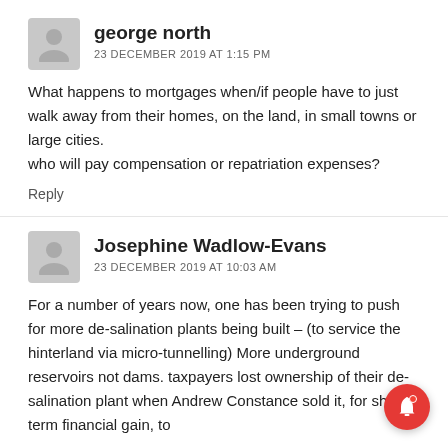george north
23 DECEMBER 2019 AT 1:15 PM
What happens to mortgages when/if people have to just walk away from their homes, on the land, in small towns or large cities.
who will pay compensation or repatriation expenses?
Reply
Josephine Wadlow-Evans
23 DECEMBER 2019 AT 10:03 AM
For a number of years now, one has been trying to push for more de-salination plants being built – (to service the hinterland via micro-tunnelling) More underground reservoirs not dams. taxpayers lost ownership of their de-salination plant when Andrew Constance sold it, for short term financial gain, to